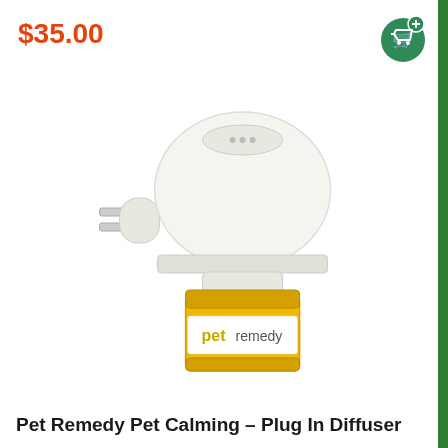$35.00
[Figure (photo): Pet Remedy plug-in diffuser product photo. White rounded diffuser unit with electrical plug prongs on the left side, attached to a small amber/yellow glass bottle labeled 'pet remedy' in yellow and gray text.]
Pet Remedy Pet Calming - Plug In Diffuser